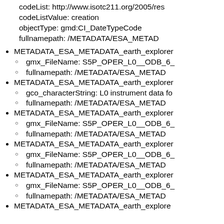codeList: http://www.isotc211.org/2005/res
codeListValue: creation
objectType: gmd:CI_DateTypeCode
fullnamepath: /METADATA/ESA_METAD
METADATA_ESA_METADATA_earth_explorer
gmx_FileName: S5P_OPER_L0__ODB_6_
fullnamepath: /METADATA/ESA_METAD
METADATA_ESA_METADATA_earth_explorer
gco_characterString: L0 instrument data fo
fullnamepath: /METADATA/ESA_METAD
METADATA_ESA_METADATA_earth_explorer
gmx_FileName: S5P_OPER_L0__ODB_6_
fullnamepath: /METADATA/ESA_METAD
METADATA_ESA_METADATA_earth_explorer
gmx_FileName: S5P_OPER_L0__ODB_6_
fullnamepath: /METADATA/ESA_METAD
METADATA_ESA_METADATA_earth_explorer
gmx_FileName: S5P_OPER_L0__ODB_6_
fullnamepath: /METADATA/ESA_METAD
METADATA_ESA_METADATA_earth_explorer